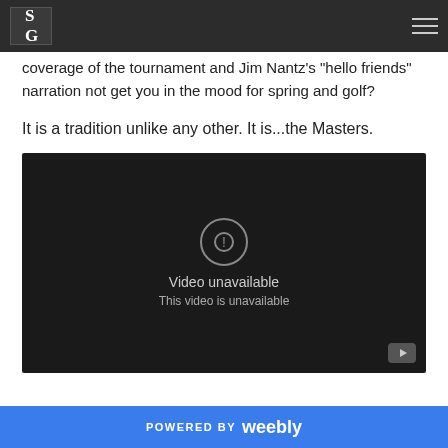SG (logo) — navigation bar with hamburger menu
coverage of the tournament and Jim Nantz's "hello friends" narration not get you in the mood for spring and golf?
It is a tradition unlike any other. It is...the Masters.
[Figure (screenshot): Embedded YouTube video player showing 'Video unavailable - This video is unavailable' message on dark background with YouTube icon in bottom right corner]
POWERED BY weebly